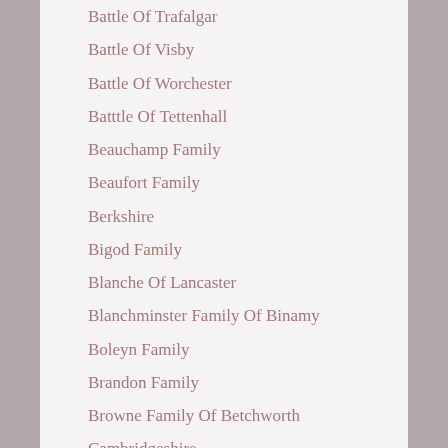Battle Of Trafalgar
Battle Of Visby
Battle Of Worchester
Batttle Of Tettenhall
Beauchamp Family
Beaufort Family
Berkshire
Bigod Family
Blanche Of Lancaster
Blanchminster Family Of Binamy
Boleyn Family
Brandon Family
Browne Family Of Betchworth
Cambridgeshire
Carey Family
Castles
Cathedrals
Catherine Howard
Catherine Of Valois